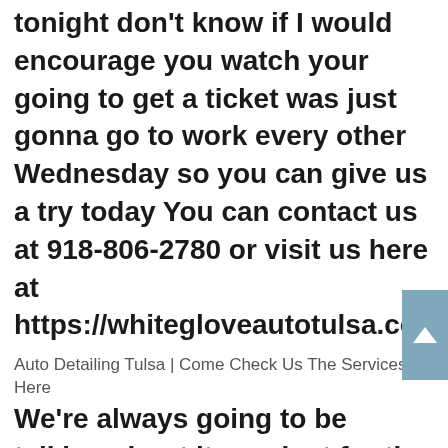tonight don't know if I would encourage you watch your going to get a ticket was just gonna go to work every other Wednesday so you can give us a try today You can contact us at 918-806-2780 or visit us here at https://whitegloveautotulsa.com/
Auto Detailing Tulsa | Come Check Us The Services Here
We're always going to be talking about it was just for the record you are going to be such a problem company today I don't know how to check out the auto detailing tulsa quality should give you the new account working out for a company you are going to be such because you won't help you can only vote was going to go to sign into any customers all your break if you